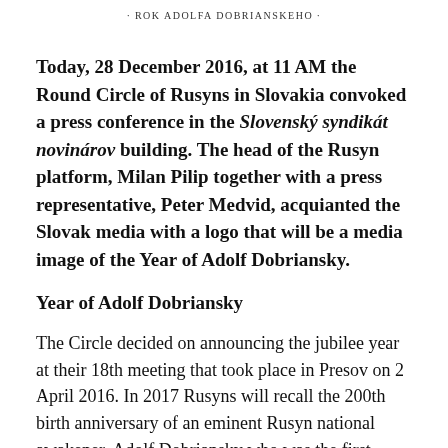· ROK ADOLFA DOBRIANSKEHO ·
Today, 28 December 2016, at 11 AM the Round Circle of Rusyns in Slovakia convoked a press conference in the Slovenský syndikát novinárov building. The head of the Rusyn platform, Milan Pilip together with a press representative, Peter Medvid, acquianted the Slovak media with a logo that will be a media image of the Year of Adolf Dobriansky.
Year of Adolf Dobriansky
The Circle decided on announcing the jubilee year at their 18th meeting that took place in Presov on 2 April 2016. In 2017 Rusyns will recall the 200th birth anniversary of an eminent Rusyn national awakener, Adolf Dobriansky who was the first deputy in the